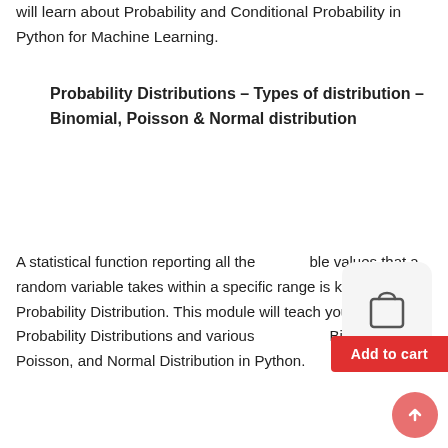will learn about Probability and Conditional Probability in Python for Machine Learning.
Probability Distributions – Types of distribution – Binomial, Poisson & Normal distribution
A statistical function reporting all the possible values that a random variable takes within a specific range is known as a Probability Distribution. This module will teach you about Probability Distributions and various types like Binomial, Poisson, and Normal Distribution in Python.